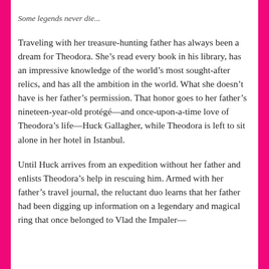Some legends never die...
Traveling with her treasure-hunting father has always been a dream for Theodora. She’s read every book in his library, has an impressive knowledge of the world’s most sought-after relics, and has all the ambition in the world. What she doesn’t have is her father’s permission. That honor goes to her father’s nineteen-year-old protégé—and once-upon-a-time love of Theodora’s life—Huck Gallagher, while Theodora is left to sit alone in her hotel in Istanbul.
Until Huck arrives from an expedition without her father and enlists Theodora’s help in rescuing him. Armed with her father’s travel journal, the reluctant duo learns that her father had been digging up information on a legendary and magical ring that once belonged to Vlad the Impaler—